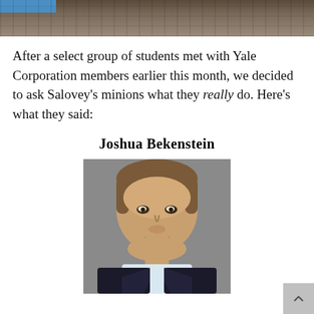[Figure (photo): Dark outdoor photograph used as page header banner with a blue rectangle overlay in top-left corner]
After a select group of students met with Yale Corporation members earlier this month, we decided to ask Salovey's minions what they really do. Here's what they said:
Joshua Bekenstein
[Figure (photo): Professional headshot portrait of Joshua Bekenstein, a middle-aged man in a dark suit with light shirt, smiling, gray background]